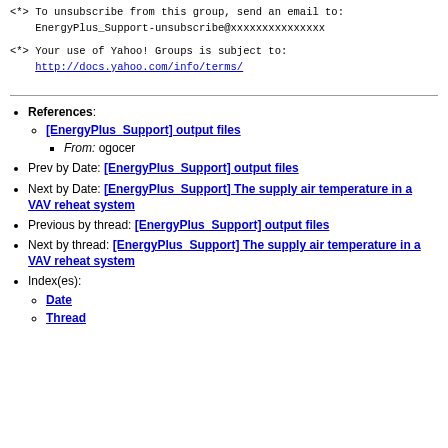<*> To unsubscribe from this group, send an email to:
    EnergyPlus_Support-unsubscribe@xxxxxxxxxxxxxxx
<*> Your use of Yahoo! Groups is subject to:
    http://docs.yahoo.com/info/terms/
References: [EnergyPlus_Support] output files — From: ogocer
Prev by Date: [EnergyPlus_Support] output files
Next by Date: [EnergyPlus_Support] The supply air temperature in a VAV reheat system
Previous by thread: [EnergyPlus_Support] output files
Next by thread: [EnergyPlus_Support] The supply air temperature in a VAV reheat system
Index(es): Date, Thread